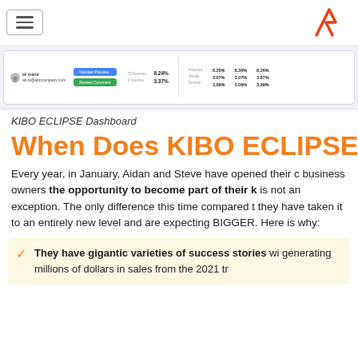Navigation menu and logo
[Figure (screenshot): KIBO ECLIPSE Dashboard screenshot showing user info, buttons (Number Preview, Review Comment), percentage values 8.24%, 3.37%, and a data table with percentage columns 8.20%, 8.36%, 8.26%, 3.07%, 3.07%, 3.07%, 3.09%, 3.09%, 3.09%]
KIBO ECLIPSE Dashboard
When Does KIBO ECLIPSE S
Every year, in January, Aidan and Steve have opened their c business owners the opportunity to become part of their k is not an exception. The only difference this time compared t they have taken it to an entirely new level and are expecting BIGGER. Here is why:
They have gigantic varieties of success stories wi generating millions of dollars in sales from the 2021 tr